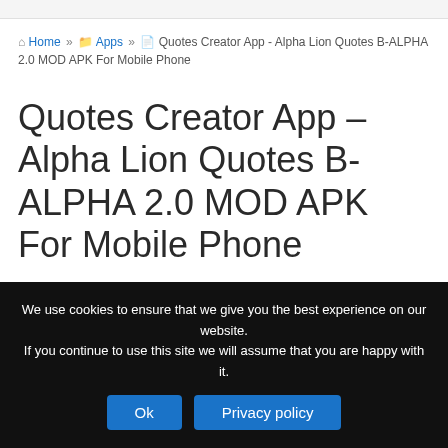Home » Apps » Quotes Creator App - Alpha Lion Quotes B-ALPHA 2.0 MOD APK For Mobile Phone
Quotes Creator App – Alpha Lion Quotes B-ALPHA 2.0 MOD APK For Mobile Phone
March 14, 2020  modfile
We use cookies to ensure that we give you the best experience on our website. If you continue to use this site we will assume that you are happy with it.